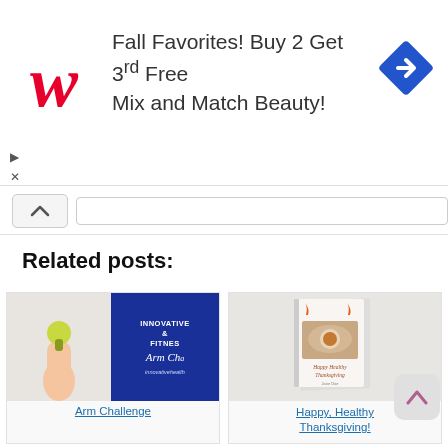[Figure (other): Walgreens ad banner: Walgreens cursive W logo in red on left, text 'Fall Favorites! Buy 2 Get 3rd Free Mix and Match Beauty!' in center, blue diamond navigation icon on right]
Related posts:
[Figure (illustration): Arm Challenge post thumbnail showing woman with dumbbell on left half and blue banner with text 'INNOVATIVE & FITNESS Arm Cha... innovativehealth' on right]
Arm Challenge
[Figure (illustration): Happy Healthy Thanksgiving post thumbnail showing a white book cover with food imagery and text 'Happy Healthy Thanksgiving']
Happy, Healthy Thanksgiving!